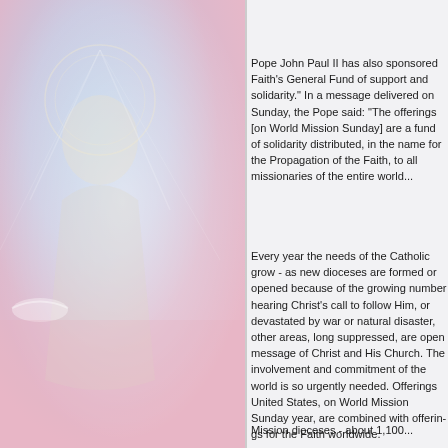[Figure (illustration): Left half of page showing a religious illustration — appears to be a figure of Jesus or a saint with a dove, rendered with soft pastel colors (blue, pink, lavender) as a decorative background image.]
Pope John Paul II has also spo... Faith's General Fund of suppor... solidarity." In a message delive... Sunday, the Pope said: "The o... [on World Mission Sunday] are ... of solidarity distributed, in the F... for the Propagation of the Faith... missionaries of the entire world...
Every year the needs of the Ca... grow - as new dioceses are for... opened because of the growing... hearing Christ's call to follow H... devastated by war or natural di... other areas, long suppressed, a... message of Christ and His Chu... involvement and commitment o... world is so urgently needed. Of... United States, on World Missio... year, are combined with offerin... Faith worldwide.
Mission dioceses - about 1,100...